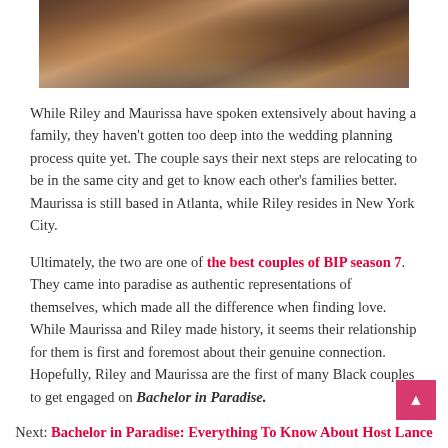[Figure (photo): Photo of people at a dinner table, partially cropped at top of page]
While Riley and Maurissa have spoken extensively about having a family, they haven't gotten too deep into the wedding planning process quite yet. The couple says their next steps are relocating to be in the same city and get to know each other's families better. Maurissa is still based in Atlanta, while Riley resides in New York City.
Ultimately, the two are one of the best couples of BIP season 7. They came into paradise as authentic representations of themselves, which made all the difference when finding love. While Maurissa and Riley made history, it seems their relationship for them is first and foremost about their genuine connection. Hopefully, Riley and Maurissa are the first of many Black couples to get engaged on Bachelor in Paradise.
Next: Bachelor in Paradise: Everything To Know About Host Lance Bass
Sources Read...